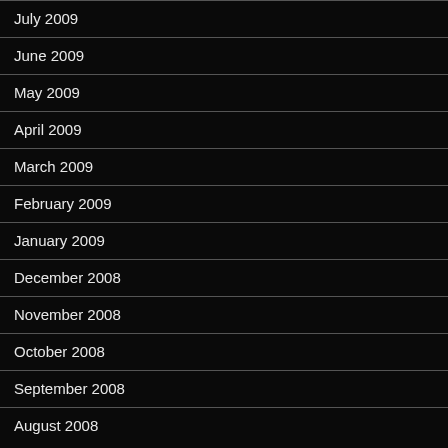July 2009
June 2009
May 2009
April 2009
March 2009
February 2009
January 2009
December 2008
November 2008
October 2008
September 2008
August 2008